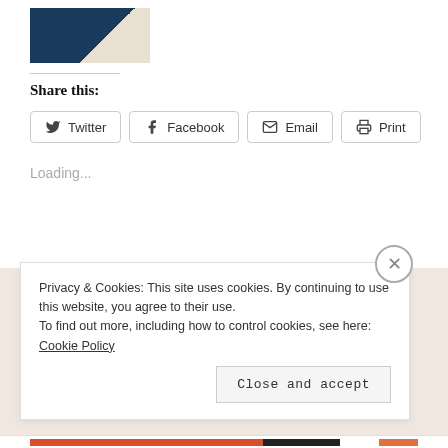[Figure (photo): Partial photo of a person wearing a dark navy top and light/cream scarf or collar, cropped at top.]
Share this:
Twitter  Facebook  Email  Print
Loading...
Privacy & Cookies: This site uses cookies. By continuing to use this website, you agree to their use.
To find out more, including how to control cookies, see here: Cookie Policy
Close and accept